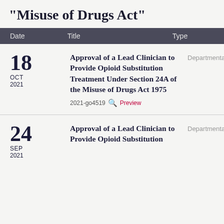"Misuse of Drugs Act"
| Date | Title | Type |
| --- | --- | --- |
| 18 OCT 2021 | Approval of a Lead Clinician to Provide Opioid Substitution Treatment Under Section 24A of the Misuse of Drugs Act 1975 | 2021-go4519 Preview | Departmental |
| 24 SEP 2021 | Approval of a Lead Clinician to Provide Opioid Substitution... | Departmental |